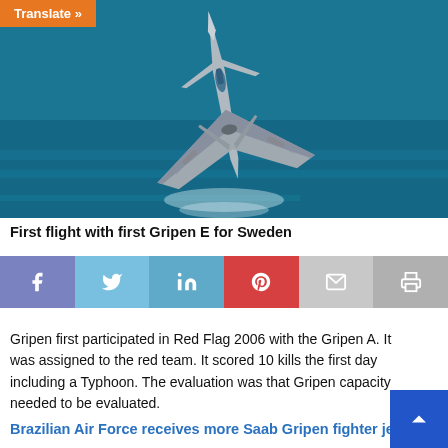[Figure (photo): Aerial photograph of a Saab Gripen E fighter jet in flight over blue water, viewed from above-rear angle. Aircraft is silver/grey with angular delta wing design. An orange 'Translate »' button overlay appears in the top-left corner.]
First flight with first Gripen E for Sweden
[Figure (infographic): Social media sharing bar with six buttons: Facebook (purple-blue), Twitter (light blue), LinkedIn (medium blue), Pinterest (red), Email (light grey), Print (grey)]
Gripen first participated in Red Flag 2006 with the Gripen A. It was assigned to the red team. It scored 10 kills the first day including a Typhoon. The evaluation was that Gripen capacity needed to be evaluated.
Brazilian Air Force receives more Saab Gripen fighter jets